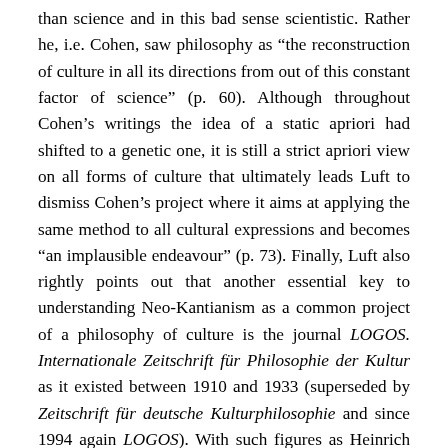than science and in this bad sense scientistic. Rather he, i.e. Cohen, saw philosophy as "the reconstruction of culture in all its directions from out of this constant factor of science" (p. 60). Although throughout Cohen's writings the idea of a static apriori had shifted to a genetic one, it is still a strict apriori view on all forms of culture that ultimately leads Luft to dismiss Cohen's project where it aims at applying the same method to all cultural expressions and becomes "an implausible endeavour" (p. 73). Finally, Luft also rightly points out that another essential key to understanding Neo-Kantianism as a common project of a philosophy of culture is the journal LOGOS. Internationale Zeitschrift für Philosophie der Kultur as it existed between 1910 and 1933 (superseded by Zeitschrift für deutsche Kulturphilosophie and since 1994 again LOGOS). With such figures as Heinrich Rickert and Wilhelm Windelband (Baden School), but also Georg